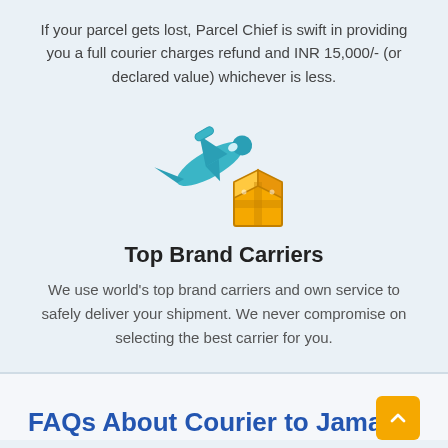If your parcel gets lost, Parcel Chief is swift in providing you a full courier charges refund and INR 15,000/- (or declared value) whichever is less.
[Figure (illustration): Airplane and parcel/box icon representing courier delivery]
Top Brand Carriers
We use world's top brand carriers and own service to safely deliver your shipment. We never compromise on selecting the best carrier for you.
FAQs About Courier to Jamaica